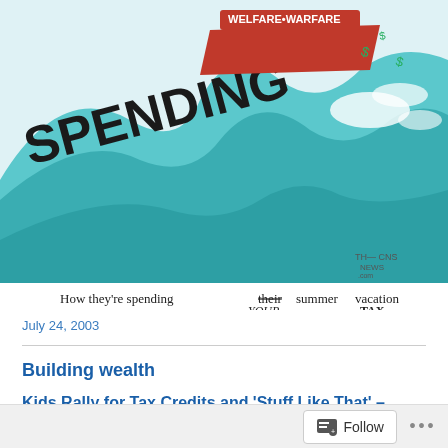[Figure (illustration): Political cartoon showing a large wave labeled 'SPENDING' with a boat labeled 'WELFARE•WARFARE' surfing on it, with money flying out. Caption reads: 'How they're spending their (struck through, replaced with YOUR) summer vacation (struck through, replaced with TAX)'. Signed by cartoonist with CNS News logo.]
July 24, 2003
Building wealth
Kids Rally for Tax Credits and 'Stuff Like That' –
Exploiting kids for their big government goals is nothing